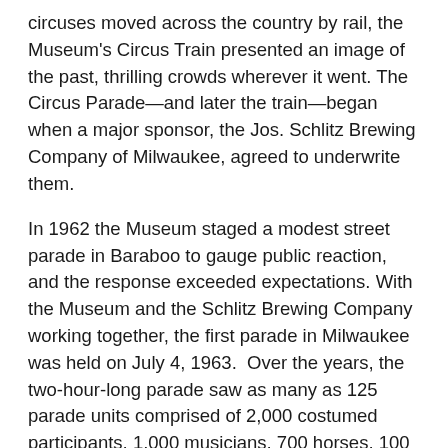circuses moved across the country by rail, the Museum's Circus Train presented an image of the past, thrilling crowds wherever it went. The Circus Parade—and later the train—began when a major sponsor, the Jos. Schlitz Brewing Company of Milwaukee, agreed to underwrite them.
In 1962 the Museum staged a modest street parade in Baraboo to gauge public reaction, and the response exceeded expectations. With the Museum and the Schlitz Brewing Company working together, the first parade in Milwaukee was held on July 4, 1963.  Over the years, the two-hour-long parade saw as many as 125 parade units comprised of 2,000 costumed participants, 1,000 musicians, 700 horses, 100 clowns and dozens of vintage circus wagons over a three-mile route.
The Circus Train first appeared with its vintage cars in 1965, and ran until 2003, with several lapses. During the years, the train was routed over several railroads in Illinois and Wisconsin, including the Milwaukee Road, the Chicago & North Western, the Wisconsin Central, the Canadian Pacific, the Canadian National and the Wisconsin & Southern. “The